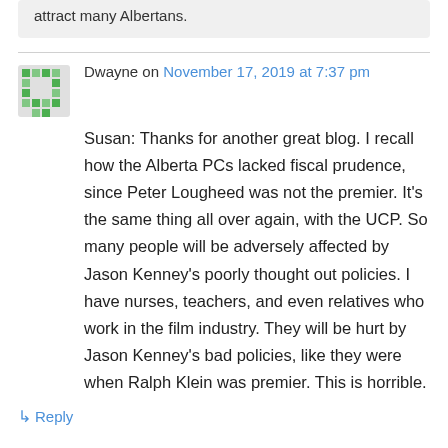attract many Albertans.
Dwayne on November 17, 2019 at 7:37 pm
Susan: Thanks for another great blog. I recall how the Alberta PCs lacked fiscal prudence, since Peter Lougheed was not the premier. It's the same thing all over again, with the UCP. So many people will be adversely affected by Jason Kenney's poorly thought out policies. I have nurses, teachers, and even relatives who work in the film industry. They will be hurt by Jason Kenney's bad policies, like they were when Ralph Klein was premier. This is horrible.
↳ Reply